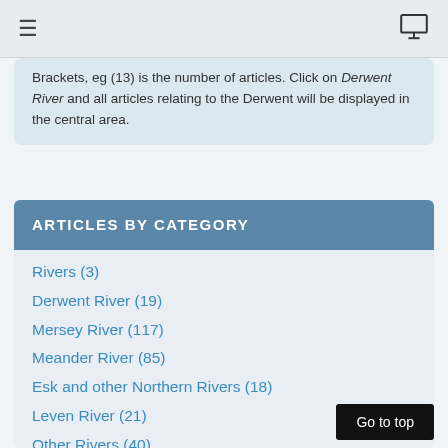Navigation bar with hamburger menu and monitor icon
Brackets, eg (13) is the number of articles. Click on Derwent River and all articles relating to the Derwent will be displayed in the central area.
ARTICLES BY CATEGORY
Rivers (3)
Derwent River (19)
Mersey River (117)
Meander River (85)
Esk and other Northern Rivers (18)
Leven River (21)
Other Rivers (40)
Saltwater and Estuary Fishing
Rock Lobster (13)